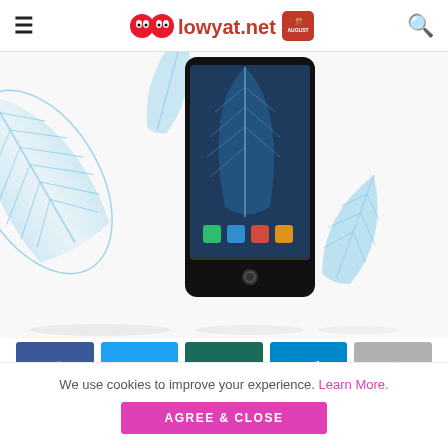lowyat.net
[Figure (photo): Promotional image of a black Android smartphone surrounded by blue feathers on a white background, shown at an angle. The phone screen displays Android apps. Multiple blue feathers are arranged around the phone as decorative elements.]
[Figure (other): Social share button row with five buttons: Facebook (blue with f icon), Twitter (light blue with bird icon), WhatsApp (dark teal with phone/chat icon), Telegram (sky blue with paper plane icon), and a grey share/more button.]
We use cookies to improve your experience. Learn More.
AGREE & CLOSE